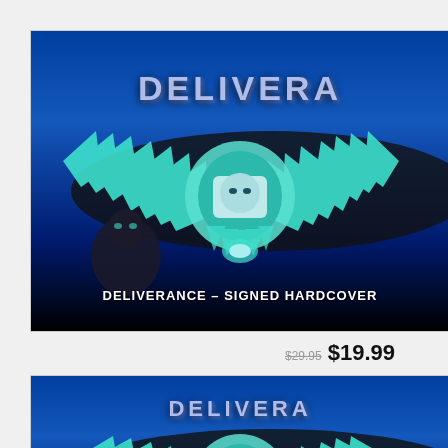[Figure (photo): Book product listing image for DELIVERANCE - SIGNED HARDCOVER, showing blue cover with winged eagle figure and title text in metallic letters]
DELIVERANCE – SIGNED HARDCOVER
$29.95 $19.99
[Figure (photo): Second book product listing image for DELIVERANCE, showing same blue cover with winged eagle figure and title text, partially visible]